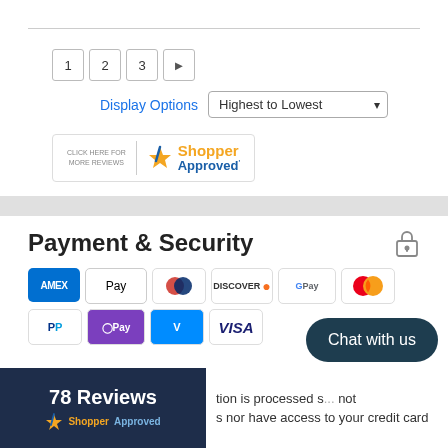[Figure (screenshot): Pagination buttons showing 1, 2, 3 and next arrow]
Display Options   Highest to Lowest ▾
[Figure (logo): Shopper Approved badge with CLICK HERE FOR MORE REVIEWS text]
Payment & Security
[Figure (infographic): Payment method icons: Amex, Apple Pay, Diners Club, Discover, Google Pay, Mastercard, PayPal, OPay, Venmo, Visa]
[Figure (screenshot): Chat with us button overlay]
[Figure (logo): 78 Reviews - ShopperApproved badge]
tion is processed s... not
s nor have access to your credit card